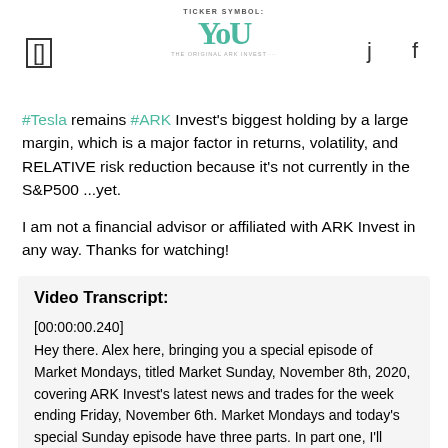TICKER SYMBOL: YOU
#Tesla remains #ARK Invest's biggest holding by a large margin, which is a major factor in returns, volatility, and RELATIVE risk reduction because it's not currently in the S&P500 ...yet.
I am not a financial advisor or affiliated with ARK Invest in any way. Thanks for watching!
Video Transcript:
[00:00:00.240]
Hey there. Alex here, bringing you a special episode of Market Mondays, titled Market Sunday, November 8th, 2020, covering ARK Invest's latest news and trades for the week ending Friday, November 6th. Market Mondays and today's special Sunday episode have three parts. In part one, I'll discuss the overall markets and broader economic situation. In part two, I'll discuss ARK Invest specific news. And in part three, we'll use it all as context to discuss ARK Invest's latest buys, sells